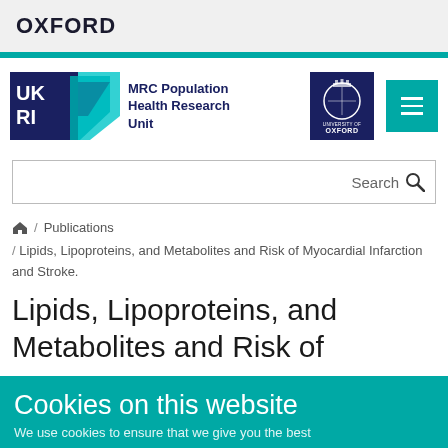OXFORD
[Figure (logo): UKRI logo with teal and dark blue blocks, MRC Population Health Research Unit text, University of Oxford crest logo, and teal hamburger menu button]
Search
/ Publications / Lipids, Lipoproteins, and Metabolites and Risk of Myocardial Infarction and Stroke.
Lipids, Lipoproteins, and Metabolites and Risk of
Cookies on this website
We use cookies to ensure that we give you the best